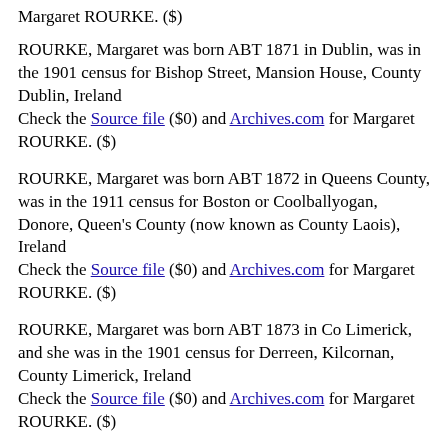Margaret ROURKE. ($)
ROURKE, Margaret was born ABT 1871 in Dublin, was in the 1901 census for Bishop Street, Mansion House, County Dublin, Ireland
Check the Source file ($0) and Archives.com for Margaret ROURKE. ($)
ROURKE, Margaret was born ABT 1872 in Queens County, was in the 1911 census for Boston or Coolballyogan, Donore, Queen's County (now known as County Laois), Ireland
Check the Source file ($0) and Archives.com for Margaret ROURKE. ($)
ROURKE, Margaret was born ABT 1873 in Co Limerick, and she was in the 1901 census for Derreen, Kilcornan, County Limerick, Ireland
Check the Source file ($0) and Archives.com for Margaret ROURKE. ($)